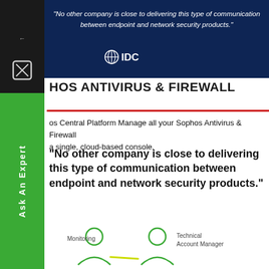"No other company is close to delivering this type of communication between endpoint and network security products." — IDC
SOPHOS ANTIVIRUS & FIREWALL
Sophos Central Platform Manage all your Sophos Antivirus & Firewall in a single, cloud-based console.
"No other company is close to delivering this type of communication between endpoint and network security products."
[Figure (illustration): Diagram showing Monitoring person icon connected by yellow-green line to Technical Account Manager person icon]